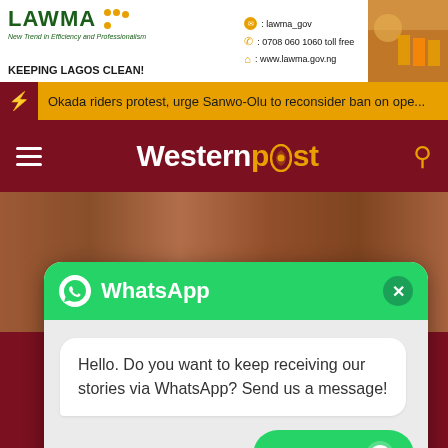[Figure (screenshot): LAWMA banner advertisement: green LAWMA logo with dots, tagline 'New Trend in Efficiency and Professionalism', 'KEEPING LAGOS CLEAN!', social media and contact info including lawma_gov, 0708 060 1060 toll free, www.lawma.gov.ng, with photo of workers in orange uniforms]
Okada riders protest, urge Sanwo-Olu to reconsider ban on ope...
Westernpost
[Figure (screenshot): WhatsApp popup overlay with green header showing WhatsApp logo and title, close button, white chat bubble saying 'Hello. Do you want to keep receiving our stories via WhatsApp? Send us a message!', and green 'Open chat' button with WhatsApp icon]